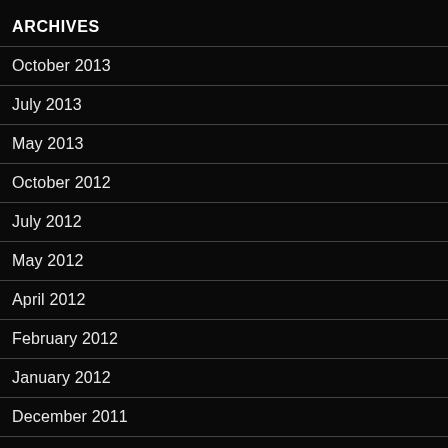ARCHIVES
October 2013
July 2013
May 2013
October 2012
July 2012
May 2012
April 2012
February 2012
January 2012
December 2011
October 2011